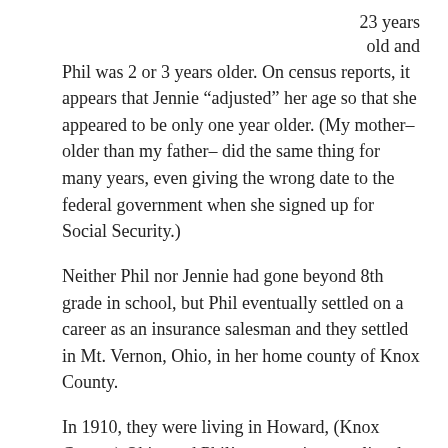23 years old and
Phil was 2 or 3 years older.  On census reports, it appears that Jennie “adjusted” her age so that she appeared to be only one year older. (My mother–older than my father– did the same thing for many years, even giving the wrong date to the federal government when she signed up for Social Security.)
Neither Phil nor Jennie had gone beyond 8th grade in school, but Phil eventually settled on a career as an insurance salesman and they settled in Mt. Vernon, Ohio, in her home county of Knox County.
In 1910, they were living in Howard, (Knox County) Ohio, and Phil’s occupation was listed as “erecting” in the industry of “engineering.”  And in 1920,  they were living in Columbus Ohio, and Phil’s mother (66) and father(70) were living with them. Phil’s occupation was listed as “Engine Repair” for the